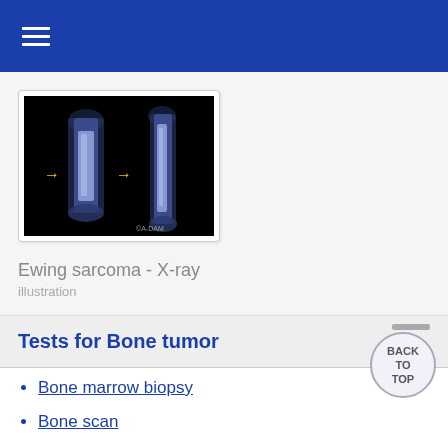≡
[Figure (photo): X-ray image showing Ewing sarcoma with yellow arrows pointing to affected bone areas. Dark background with two bone views. Watermark visible at bottom right.]
Ewing sarcoma - X-ray
illustration
Tests for Bone tumor
Bone marrow biopsy
Bone scan